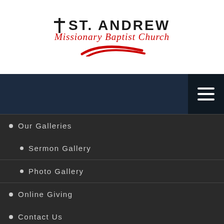[Figure (logo): St. Andrew Missionary Baptist Church logo with cross icon, black bold text 'ST. ANDREW', red italic script 'Missionary Baptist Church', and red swoosh graphic]
[Figure (other): Hamburger menu icon (three white horizontal lines) on dark navy background]
Our Galleries
Sermon Gallery
Photo Gallery
Online Giving
Contact Us